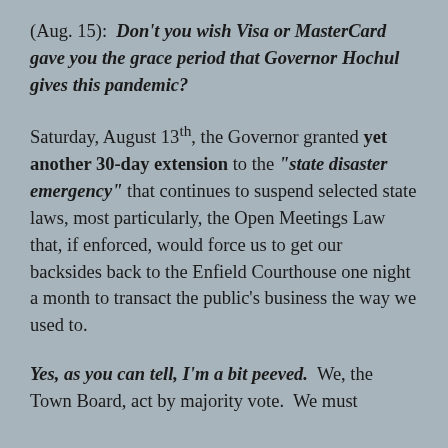(Aug. 15):  Don't you wish Visa or MasterCard gave you the grace period that Governor Hochul gives this pandemic?
Saturday, August 13th, the Governor granted yet another 30-day extension to the "state disaster emergency" that continues to suspend selected state laws, most particularly, the Open Meetings Law that, if enforced, would force us to get our backsides back to the Enfield Courthouse one night a month to transact the public's business the way we used to.
Yes, as you can tell, I'm a bit peeved.  We, the Town Board, act by majority vote.  We must